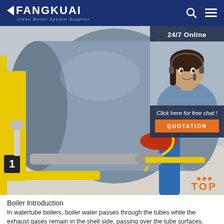FANGKUAI - Clean Boiler System Supplier
[Figure (photo): Industrial watertube boiler with yellow and blue pipes, gas burner, and control panel in a facility setting]
24/7 Online
[Figure (photo): Female customer service representative wearing headset, smiling]
Click here for free chat !
QUOTATION
Boiler Introduction
In watertube boilers, boiler water passes through the tubes while the exhaust gases remain in the shell side, passing over the tube surfaces. Since tubes can typically withstand higher internal